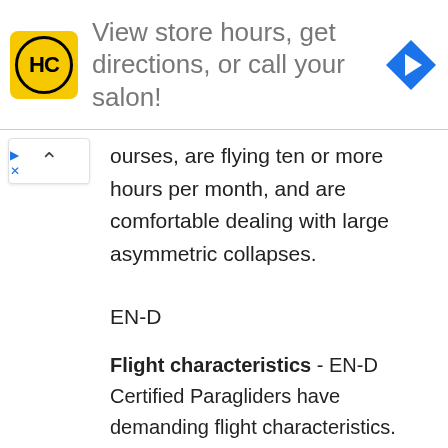[Figure (infographic): Advertisement banner: HC logo (yellow square with HC in circle), text 'View store hours, get directions, or call your salon!', blue diamond arrow icon on right]
...ourses, are flying ten or more hours per month, and are comfortable dealing with large asymmetric collapses.
EN-D
Flight characteristics - EN-D Certified Paragliders have demanding flight characteristics. They can have potentially violent reactions to turbulence or pilot error. Precise pilot input will be required for